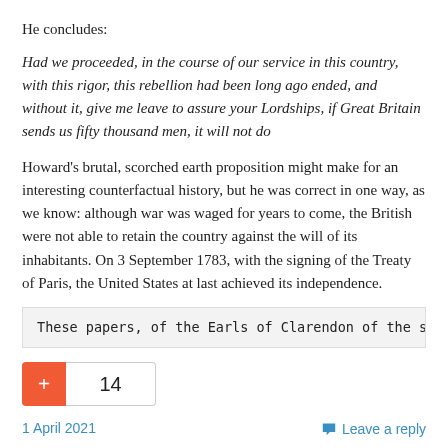He concludes:
Had we proceeded, in the course of our service in this country, with this rigor, this rebellion had been long ago ended, and without it, give me leave to assure your Lordships, if Great Britain sends us fifty thousand men, it will not do
Howard’s brutal, scorched earth proposition might make for an interesting counterfactual history, but he was correct in one way, as we know: although war was waged for years to come, the British were not able to retain the country against the will of its inhabitants. On 3 September 1783, with the signing of the Treaty of Paris, the United States at last achieved its independence.
These papers, of the Earls of Clarendon of the sec
14
1 April 2021
Leave a reply